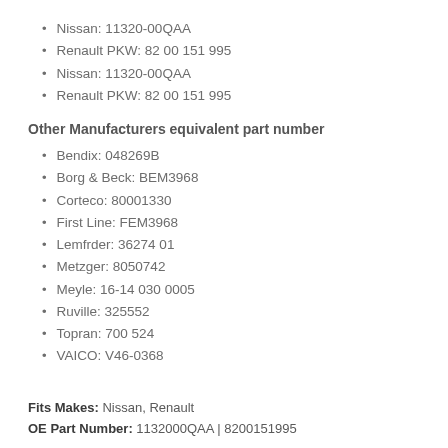Nissan: 11320-00QAA
Renault PKW: 82 00 151 995
Nissan: 11320-00QAA
Renault PKW: 82 00 151 995
Other Manufacturers equivalent part number
Bendix: 048269B
Borg & Beck: BEM3968
Corteco: 80001330
First Line: FEM3968
Lemfrder: 36274 01
Metzger: 8050742
Meyle: 16-14 030 0005
Ruville: 325552
Topran: 700 524
VAICO: V46-0368
Fits Makes: Nissan, Renault
OE Part Number: 1132000QAA | 8200151995